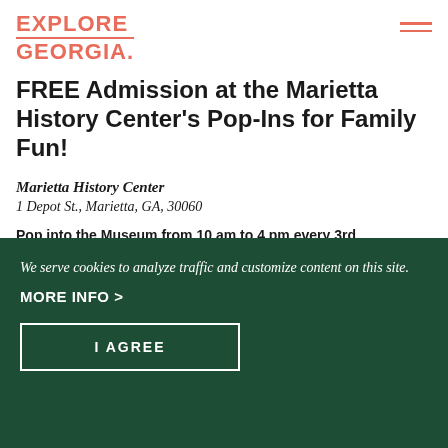EXPLORE GEORGIA
FREE Admission at the Marietta History Center's Pop-Ins for Family Fun!
Marietta History Center
1 Depot St., Marietta, GA, 30060
Pop into the Museum from 10 am to 4 pm every 3rd
We serve cookies to analyze traffic and customize content on this site. MORE INFO > I AGREE